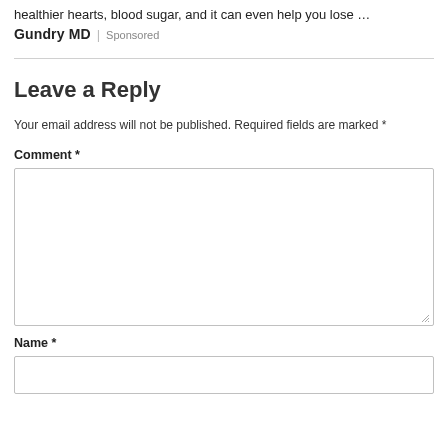healthier hearts, blood sugar, and it can even help you lose …
Gundry MD | Sponsored
Leave a Reply
Your email address will not be published. Required fields are marked *
Comment *
Name *